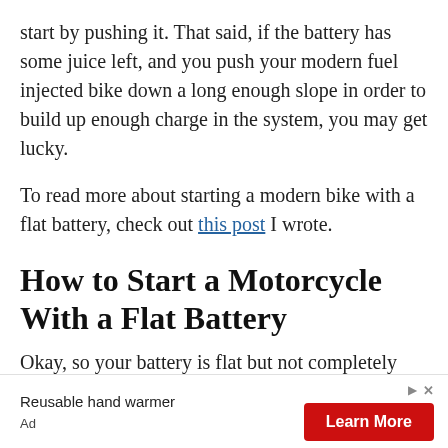start by pushing it. That said, if the battery has some juice left, and you push your modern fuel injected bike down a long enough slope in order to build up enough charge in the system, you may get lucky.
To read more about starting a modern bike with a flat battery, check out this post I wrote.
How to Start a Motorcycle With a Flat Battery
Okay, so your battery is flat but not completely dead. Let's briefly look at a few good ways to get the motor running.
[Figure (other): Advertisement banner: Reusable hand warmer product with a red 'Learn More' button and ad controls (play and close icons)]